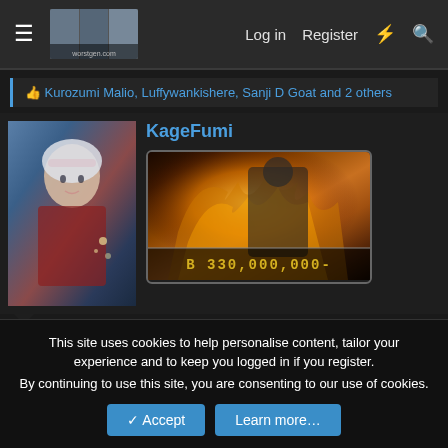≡  [logo]  Log in  Register  ⚡  🔍
👍 Kurozumi Malio, Luffywankishere, Sanji D Goat and 2 others
KageFumi
[Figure (screenshot): Avatar image of a female character with white/silver hair wearing a red outfit against a blue background]
[Figure (screenshot): Game screenshot showing a character surrounded by fire/flames with bounty amount overlay reading $ 3 3 0 , 0 0 0 , 0 0 0 –]
Nov 19, 2021
#88
This site uses cookies to help personalise content, tailor your experience and to keep you logged in if you register.
By continuing to use this site, you are consenting to our use of cookies.
✓ Accept   Learn more…